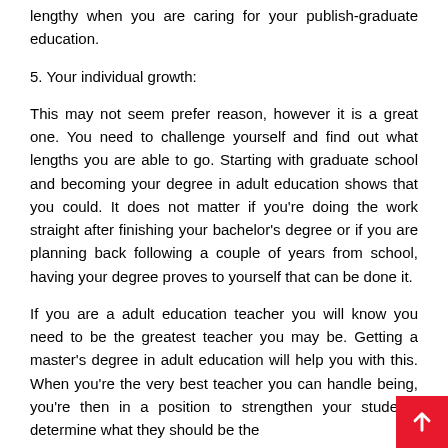lengthy when you are caring for your publish-graduate education.
5. Your individual growth:
This may not seem prefer reason, however it is a great one. You need to challenge yourself and find out what lengths you are able to go. Starting with graduate school and becoming your degree in adult education shows that you could. It does not matter if you're doing the work straight after finishing your bachelor's degree or if you are planning back following a couple of years from school, having your degree proves to yourself that can be done it.
If you are a adult education teacher you will know you need to be the greatest teacher you may be. Getting a master's degree in adult education will help you with this. When you're the very best teacher you can handle being, you're then in a position to strengthen your students determine what they should be the